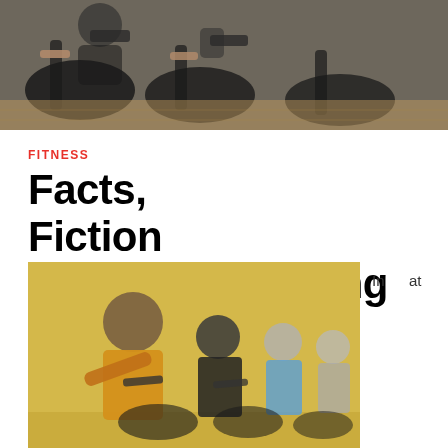[Figure (photo): Top photo of people on stationary bikes in a gym, dark equipment visible]
FITNESS
Facts, Fiction and bodybuilding
by david   June 11, 2022
[Figure (photo): Women doing a spin cycling class in a gym with yellow walls, woman in yellow top visible in foreground]
In at